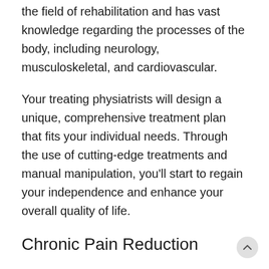the field of rehabilitation and has vast knowledge regarding the processes of the body, including neurology, musculoskeletal, and cardiovascular.
Your treating physiatrists will design a unique, comprehensive treatment plan that fits your individual needs. Through the use of cutting-edge treatments and manual manipulation, you'll start to regain your independence and enhance your overall quality of life.
Chronic Pain Reduction
Patients with all sorts of health conditions may be currently dealing with chronic pain. Our rehabilitation experts are highly trained to evaluate and provide patient-centered treatment plans that